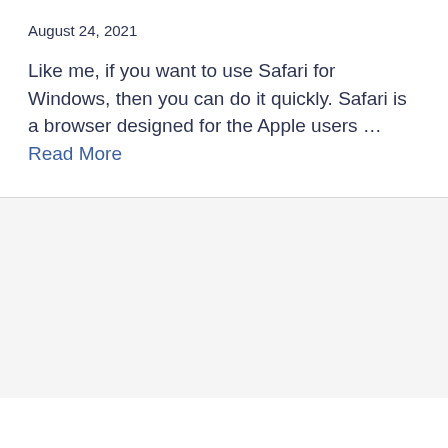August 24, 2021
Like me, if you want to use Safari for Windows, then you can do it quickly. Safari is a browser designed for the Apple users … Read More